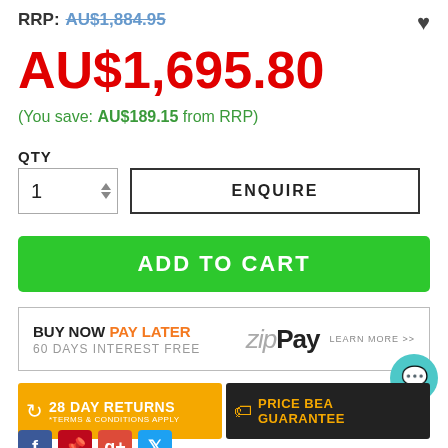RRP: AU$1,884.95
AU$1,695.80
(You save: AU$189.15 from RRP)
QTY
ENQUIRE
ADD TO CART
[Figure (infographic): ZipPay banner: BUY NOW PAY LATER / 60 DAYS INTEREST FREE with zipPay logo and LEARN MORE >>]
[Figure (infographic): 28 DAY RETURNS *TERMS & CONDITIONS APPLY banner (yellow)]
[Figure (infographic): PRICE BEAT GUARANTEE banner (dark)]